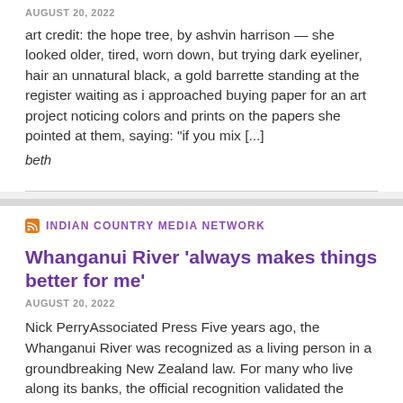AUGUST 20, 2022
art credit: the hope tree, by ashvin harrison — she looked older, tired, worn down, but trying dark eyeliner, hair an unnatural black, a gold barrette standing at the register waiting as i approached buying paper for an art project noticing colors and prints on the papers she pointed at them, saying: "if you mix [...]
beth
INDIAN COUNTRY MEDIA NETWORK
Whanganui River 'always makes things better for me'
AUGUST 20, 2022
Nick PerryAssociated Press Five years ago, the Whanganui River was recognized as a living person in a groundbreaking New Zealand law. For many who live along its banks, the official recognition validated the deep spiritual connecti... they feel with the river. They continue to feel the draw of...
Associated Press